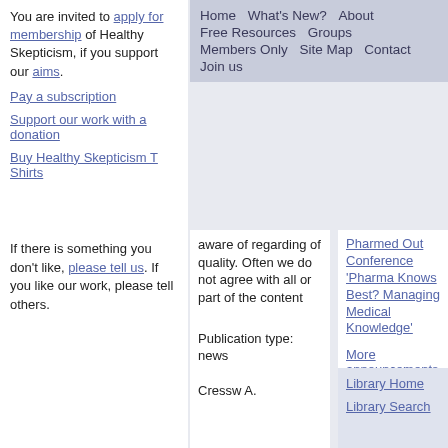Home  What's New?  About  Free Resources  Groups  Members Only  Site Map  Contact  Join us
You are invited to apply for membership of Healthy Skepticism, if you support our aims.
Pay a subscription
Support our work with a donation
Buy Healthy Skepticism T Shirts
If there is something you don't like, please tell us. If you like our work, please tell others.
aware of regarding of quality. Often we do not agree with all or part of the content
Publication type: news
Cressw A.
Pharmed Out Conference 'Pharma Knows Best? Managing Medical Knowledge'
More announcements
What's new on this site
Library Home
Library Search